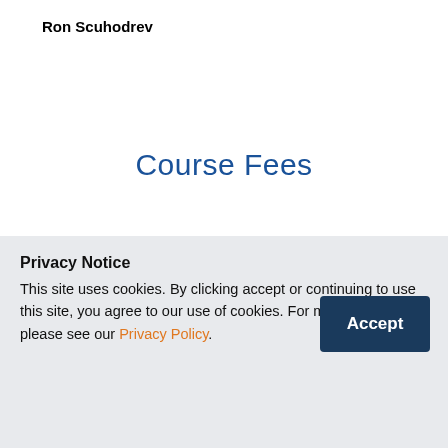Ron Scuhodrev
Course Fees
Singapore Citizens
Privacy Notice
This site uses cookies. By clicking accept or continuing to use this site, you agree to our use of cookies. For more details, please see our Privacy Policy.